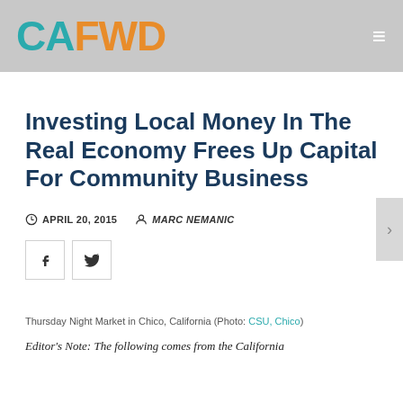CAFWD
Investing Local Money In The Real Economy Frees Up Capital For Community Business
APRIL 20, 2015   MARC NEMANIC
[Figure (other): Facebook and Twitter social share buttons]
Thursday Night Market in Chico, California (Photo: CSU, Chico)
Editor's Note: The following comes from the California